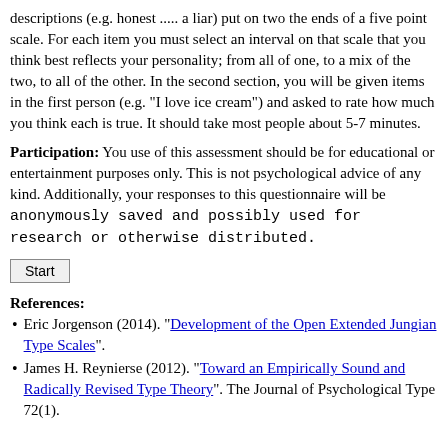descriptions (e.g. honest ..... a liar) put on two the ends of a five point scale. For each item you must select an interval on that scale that you think best reflects your personality; from all of one, to a mix of the two, to all of the other. In the second section, you will be given items in the first person (e.g. "I love ice cream") and asked to rate how much you think each is true. It should take most people about 5-7 minutes.
Participation: You use of this assessment should be for educational or entertainment purposes only. This is not psychological advice of any kind. Additionally, your responses to this questionnaire will be anonymously saved and possibly used for research or otherwise distributed.
Start
References:
Eric Jorgenson (2014). "Development of the Open Extended Jungian Type Scales".
James H. Reynierse (2012). "Toward an Empirically Sound and Radically Revised Type Theory". The Journal of Psychological Type 72(1).